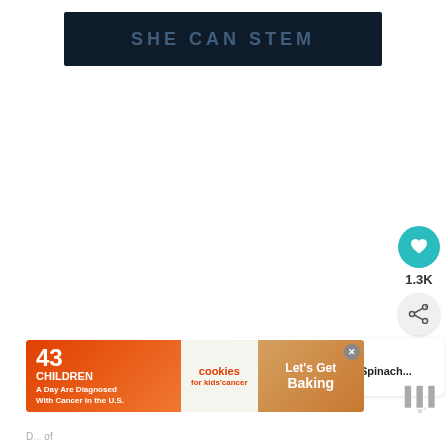[Figure (logo): SHE CAN STEM logo on dark navy background with starfield texture]
[Figure (screenshot): White content area - main page body, largely blank]
[Figure (infographic): Heart/like button (teal circle with heart icon), count 1.3K, share button]
[Figure (infographic): What's Next panel with thumbnail of food item and text: Chicken And Spinach...]
[Figure (infographic): Ad banner: 43 CHILDREN A Day Are Diagnosed With Cancer in the U.S. - cookies for kids cancer - Let's Get Baking]